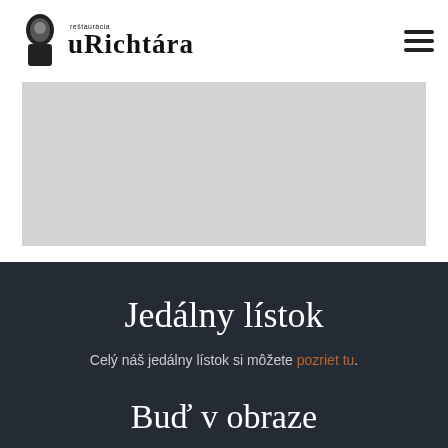reštaurácia u Richtára
[Figure (photo): Light gray placeholder hero image banner]
Jedálny lístok
Celý náš jedálny lístok si môžete pozriet tu.
Buď v obraze